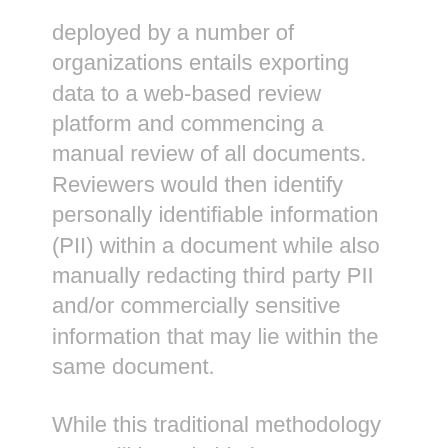deployed by a number of organizations entails exporting data to a web-based review platform and commencing a manual review of all documents. Reviewers would then identify personally identifiable information (PII) within a document while also manually redacting third party PII and/or commercially sensitive information that may lie within the same document.
While this traditional methodology may still be suitable in some cases, with the evolution of Artificial Intelligence (AI), the aforementioned process has become mostly obsolete for larger, and more